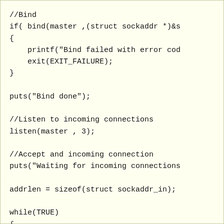//Bind
if( bind(master ,(struct sockaddr *)&s
{
    printf("Bind failed with error cod
    exit(EXIT_FAILURE);
}

puts("Bind done");

//Listen to incoming connections
listen(master , 3);

//Accept and incoming connection
puts("Waiting for incoming connections

addrlen = sizeof(struct sockaddr_in);

while(TRUE)
{
    //clear the socket fd set
    FD_ZERO(&readfds);